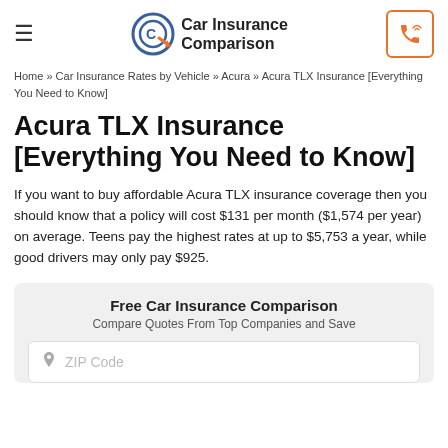Car Insurance Comparison
Home » Car Insurance Rates by Vehicle » Acura » Acura TLX Insurance [Everything You Need to Know]
Acura TLX Insurance [Everything You Need to Know]
If you want to buy affordable Acura TLX insurance coverage then you should know that a policy will cost $131 per month ($1,574 per year) on average. Teens pay the highest rates at up to $5,753 a year, while good drivers may only pay $925.
Free Car Insurance Comparison
Compare Quotes From Top Companies and Save
ZIP Code